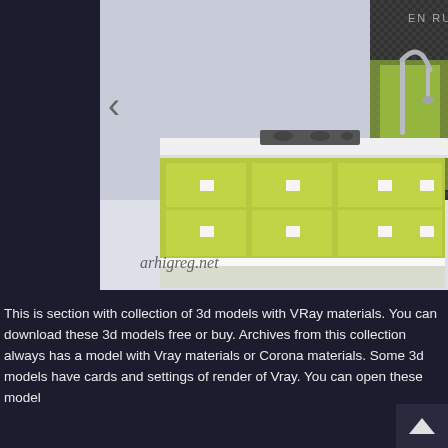[Figure (photo): 3D render of a modern kitchen island with yellow-green cabinet drawers and white countertop, featuring a gas cooktop and modern faucet with dark textured backsplash panel. Watermark 'arhigreg.net' visible at bottom. Navigation arrow '<' on left side. EN RU language selector in top right.]
This is section with collection of 3d models with VRay materials. You can download these 3d models free or buy. Archives from this collection always has a model with Vray materials or Corona materials. Some 3d models have cards and settings of render of Vray. You can open these model